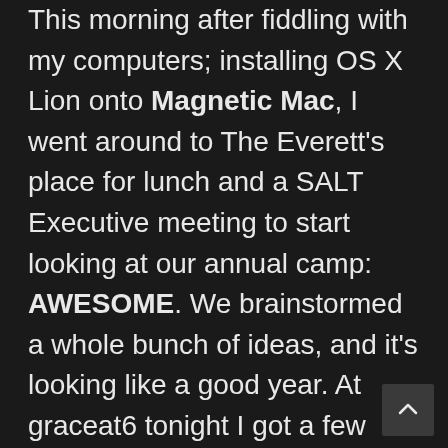This morning after fiddling with my computers; installing OS X Lion onto Magnetic Mac, I went around to The Everett's place for lunch and a SALT Executive meeting to start looking at our annual camp: AWESOME. We brainstormed a whole bunch of ideas, and it's looking like a good year. At graceat6 tonight I got a few good chats with some people which were really helpful, because I was open and honest with them. One of our mission statements is real with each other, but it is hard to be real with people there because they don't seem to care, or they